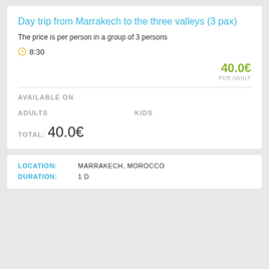Day trip from Marrakech to the three valleys (3 pax)
The price is per person in a group of 3 persons
8:30
40.0€ PER ADULT
AVAILABLE ON
ADULTS
KIDS
TOTAL: 40.0€
LOCATION: MARRAKECH, MOROCCO
DURATION: 1 D